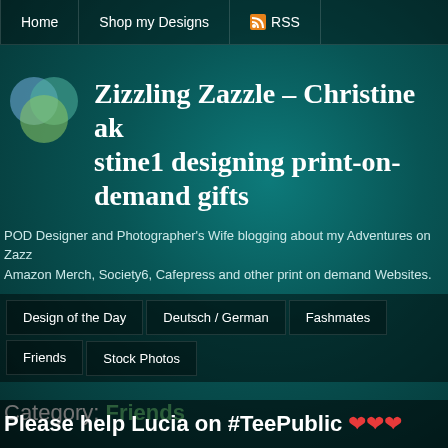Home  Shop my Designs  RSS
Zizzling Zazzle – Christine aka stine1 designing print-on-demand gifts
POD Designer and Photographer's Wife blogging about my Adventures on Zazzle, Amazon Merch, Society6, Cafepress and other print on demand Websites.
Design of the Day  Deutsch / German  Fashmates  Friends  Stock Photos
Category: Friends
Please help Lucia on #TeePublic ❤❤❤